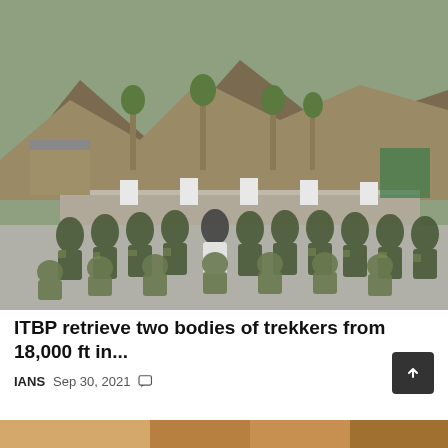[Figure (photo): Group photo of ITBP soldiers and civilians in military/camouflage uniforms posing together outdoors with mountains and trees in the background.]
ITBP retrieve two bodies of trekkers from 18,000 ft in...
IANS  Sep 30, 2021  💬
[Figure (photo): Partial image at bottom of page, cropped — appears to be another news article image.]